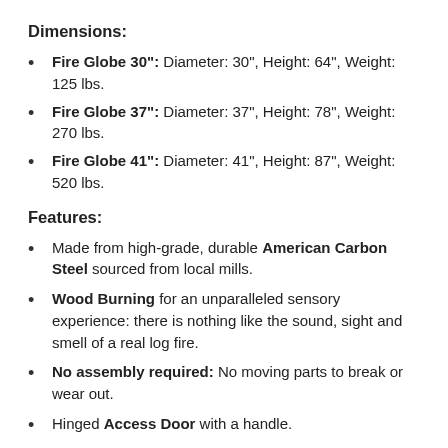Dimensions:
Fire Globe 30": Diameter: 30", Height: 64", Weight: 125 lbs.
Fire Globe 37": Diameter: 37", Height: 78", Weight: 270 lbs.
Fire Globe 41": Diameter: 41", Height: 87", Weight: 520 lbs.
Features:
Made from high-grade, durable American Carbon Steel sourced from local mills.
Wood Burning for an unparalleled sensory experience: there is nothing like the sound, sight and smell of a real log fire.
No assembly required: No moving parts to break or wear out.
Hinged Access Door with a handle.